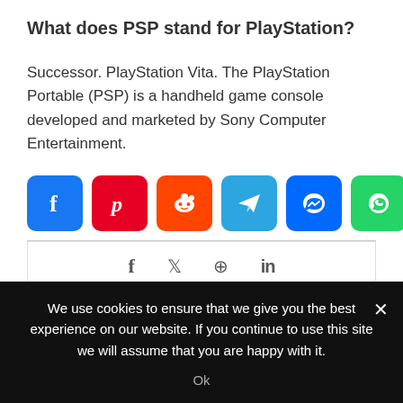What does PSP stand for PlayStation?
Successor. PlayStation Vita. The PlayStation Portable (PSP) is a handheld game console developed and marketed by Sony Computer Entertainment.
[Figure (other): Row of social share icon buttons: Facebook (blue), Pinterest (red), Reddit (orange), Telegram (blue), Messenger (blue), WhatsApp (green), Share/More (blue)]
[Figure (other): Secondary share bar with Facebook, Twitter, Pinterest, LinkedIn icons]
We use cookies to ensure that we give you the best experience on our website. If you continue to use this site we will assume that you are happy with it.
Ok